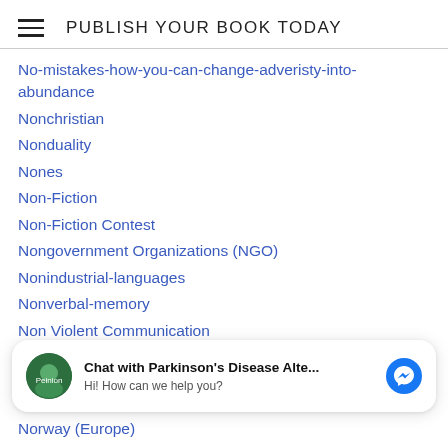PUBLISH YOUR BOOK TODAY
No-mistakes-how-you-can-change-adveristy-into-abundance
Nonchristian
Nonduality
Nones
Non-Fiction
Non-Fiction Contest
Nongovernment Organizations (NGO)
Nonindustrial-languages
Nonverbal-memory
Non Violent Communication
Non-Violent Communication
Norbert Góra
Chat with Parkinson's Disease Alte... Hi! How can we help you?
Norway (Europe)